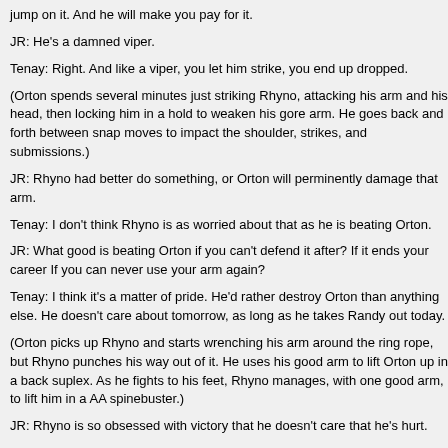jump on it. And he will make you pay for it.
JR: He's a damned viper.
Tenay: Right. And like a viper, you let him strike, you end up dropped.
(Orton spends several minutes just striking Rhyno, attacking his arm and his head, then locking him in a hold to weaken his gore arm. He goes back and forth between snap moves to impact the shoulder, strikes, and submissions.)
JR: Rhyno had better do something, or Orton will perminently damage that arm.
Tenay: I don't think Rhyno is as worried about that as he is beating Orton.
JR: What good is beating Orton if you can't defend it after? If it ends your career If you can never use your arm again?
Tenay: I think it's a matter of pride. He'd rather destroy Orton than anything else. He doesn't care about tomorrow, as long as he takes Randy out today.
(Orton picks up Rhyno and starts wrenching his arm around the ring rope, but Rhyno punches his way out of it. He uses his good arm to lift Orton up in a back suplex. As he fights to his feet, Rhyno manages, with one good arm, to lift him in a AA spinebuster.)
JR: Rhyno is so obsessed with victory that he doesn't care that he's hurt.